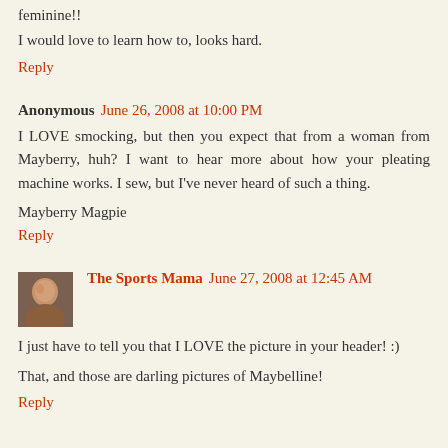feminine!!
I would love to learn how to, looks hard.
Reply
Anonymous  June 26, 2008 at 10:00 PM
I LOVE smocking, but then you expect that from a woman from Mayberry, huh? I want to hear more about how your pleating machine works. I sew, but I've never heard of such a thing.
Mayberry Magpie
Reply
The Sports Mama  June 27, 2008 at 12:45 AM
I just have to tell you that I LOVE the picture in your header! :)
That, and those are darling pictures of Maybelline!
Reply